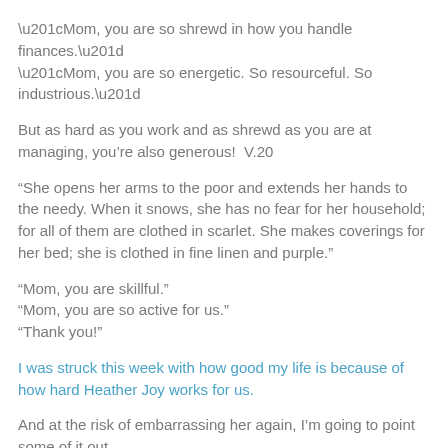“Mom, you are so shrewd in how you handle finances.” “Mom, you are so energetic. So resourceful. So industrious.”
But as hard as you work and as shrewd as you are at managing, you’re also generous!  V.20
“She opens her arms to the poor and extends her hands to the needy. When it snows, she has no fear for her household; for all of them are clothed in scarlet. She makes coverings for her bed; she is clothed in fine linen and purple.”
“Mom, you are skillful.” “Mom, you are so active for us.” “Thank you!”
I was struck this week with how good my life is because of how hard Heather Joy works for us.
And at the risk of embarrassing her again, I’m going to point some of it out.